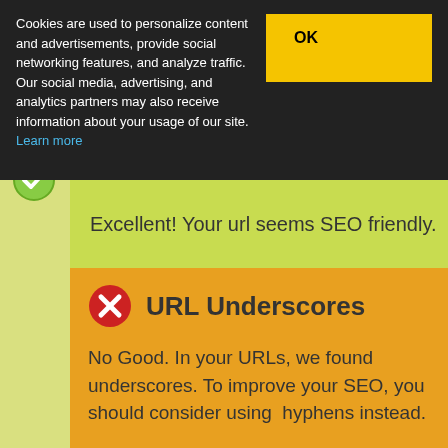Cookies are used to personalize content and advertisements, provide social networking features, and analyze traffic. Our social media, advertising, and analytics partners may also receive information about your usage of our site. Learn more
OK
Excellent! Your url seems SEO friendly.
URL Underscores
No Good. In your URLs, we found underscores. To improve your SEO, you should consider using  hyphens instead.
In-page links
We found a total of 20 links including 0 link(s) to files